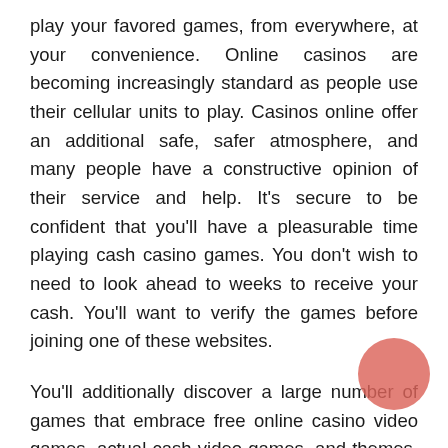play your favored games, from everywhere, at your convenience. Online casinos are becoming increasingly standard as people use their cellular units to play. Casinos online offer an additional safe, safer atmosphere, and many people have a constructive opinion of their service and help. It's secure to be confident that you'll have a pleasurable time playing cash casino games. You don't wish to need to look ahead to weeks to receive your cash. You'll want to verify the games before joining one of these websites.
You'll additionally discover a large number of games that embrace free online casino video games, actual cash video games, and themes. Listed below are the betting choices you'll find at most sportsbooks online.